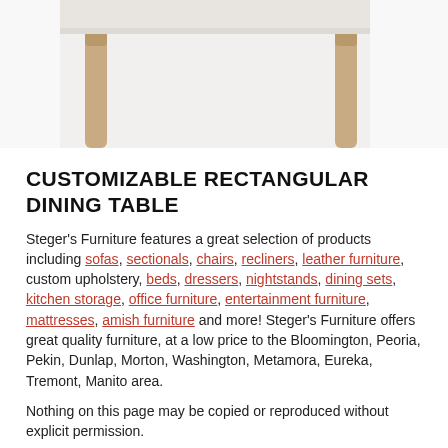[Figure (photo): Partial view of a rectangular dining table with wooden legs on a white background, showing the underside and legs of the table from a low angle.]
CUSTOMIZABLE RECTANGULAR DINING TABLE
Steger's Furniture features a great selection of products including sofas, sectionals, chairs, recliners, leather furniture, custom upholstery, beds, dressers, nightstands, dining sets, kitchen storage, office furniture, entertainment furniture, mattresses, amish furniture and more! Steger's Furniture offers great quality furniture, at a low price to the Bloomington, Peoria, Pekin, Dunlap, Morton, Washington, Metamora, Eureka, Tremont, Manito area.
Nothing on this page may be copied or reproduced without explicit permission.
Information Accuracy - We have taken great care to provide you with information that is accurate and useful. Please notify us if you find an error and we will do our best to correct it. We ask that you contact us directly to confirm information about pricing,